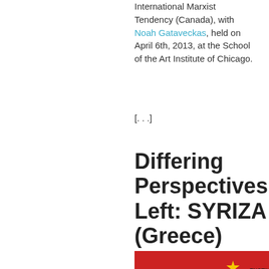International Marxist Tendency (Canada), with Noah Gataveckas, held on April 6th, 2013, at the School of the Art Institute of Chicago.
[. . .]
Differing Perspectives on the Left: SYRIZA (Greece)
[Figure (logo): SYRIZA (ΣΥΡΙΖΑ) party logo on red background with party emblem and text ΕΝΩΤΙΚΟ ΚΟΙΝΩΝΙΚΟ ΜΕΤΩΠΟ]